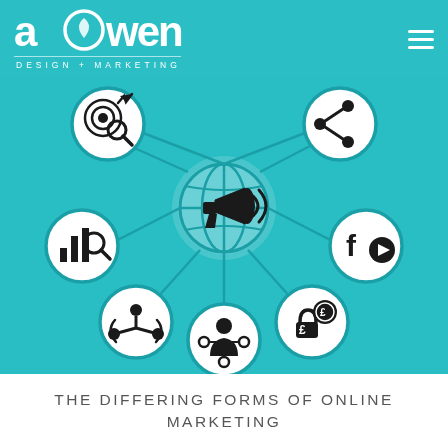aowen DESIGN + MARKETING
[Figure (infographic): Marketing network infographic on teal/cyan background showing interconnected circular icons: target/goal with magnifier, share icon, bar chart with magnifier, megaphone (center), social media/video icon, team/people icon, user/person connected icon, pound/money lock icon, all connected by lines to a central globe icon.]
THE DIFFERING FORMS OF ONLINE MARKETING